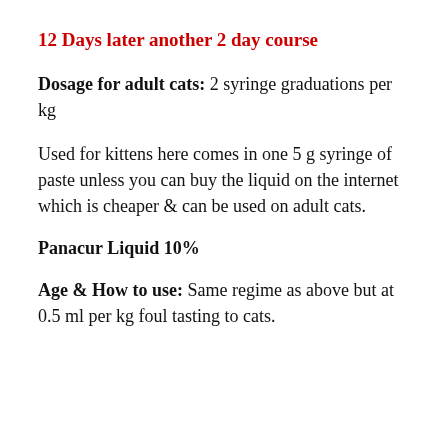12 Days later another 2 day course
Dosage for adult cats: 2 syringe graduations per kg
Used for kittens here comes in one 5 g syringe of paste unless you can buy the liquid on the internet which is cheaper & can be used on adult cats.
Panacur Liquid 10%
Age & How to use: Same regime as above but at 0.5 ml per kg foul tasting to cats.